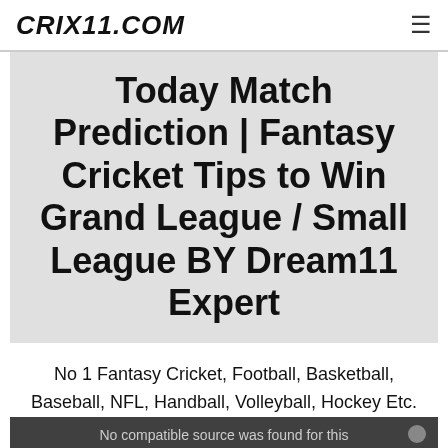CRIX11.COM
Today Match Prediction | Fantasy Cricket Tips to Win Grand League / Small League BY Dream11 Expert
No 1 Fantasy Cricket, Football, Basketball, Baseball, NFL, Handball, Volleyball, Hockey Etc.
No compatible source was found for this